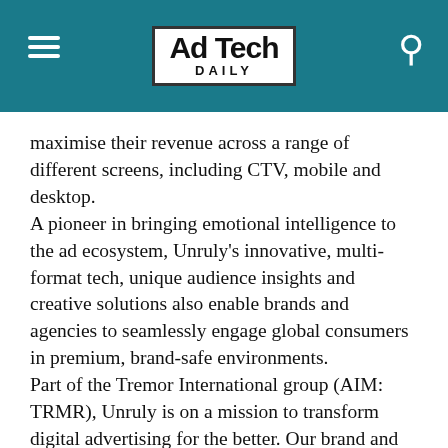Ad Tech DAILY
maximise their revenue across a range of different screens, including CTV, mobile and desktop. A pioneer in bringing emotional intelligence to the ad ecosystem, Unruly's innovative, multi-format tech, unique audience insights and creative solutions also enable brands and agencies to seamlessly engage global consumers in premium, brand-safe environments. Part of the Tremor International group (AIM: TRMR), Unruly is on a mission to transform digital advertising for the better. Our brand and agency-led council, the U7, meet regularly to shape the future of digital marketing and we are a founding member of the WFA's Global Alliance for Responsible Media. Don't just reach people, move people.